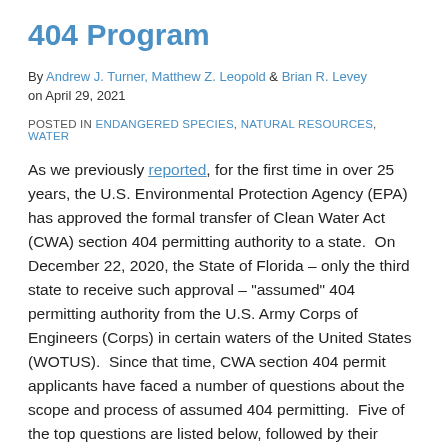404 Program
By Andrew J. Turner, Matthew Z. Leopold & Brian R. Levey on April 29, 2021
POSTED IN ENDANGERED SPECIES, NATURAL RESOURCES, WATER
As we previously reported, for the first time in over 25 years, the U.S. Environmental Protection Agency (EPA) has approved the formal transfer of Clean Water Act (CWA) section 404 permitting authority to a state. On December 22, 2020, the State of Florida – only the third state to receive such approval – "assumed" 404 permitting authority from the U.S. Army Corps of Engineers (Corps) in certain waters of the United States (WOTUS). Since that time, CWA section 404 permit applicants have faced a number of questions about the scope and process of assumed 404 permitting. Five of the top questions are listed below, followed by their